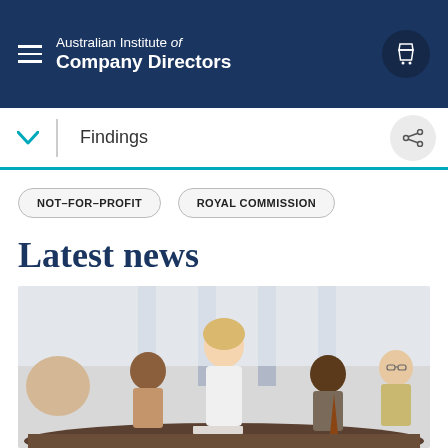Australian Institute of Company Directors
Findings
NOT-FOR-PROFIT
ROYAL COMMISSION
Latest news
[Figure (photo): A business meeting scene with a woman in a white top standing and presenting to a group of seated colleagues around a conference table, in a bright modern office with large windows.]